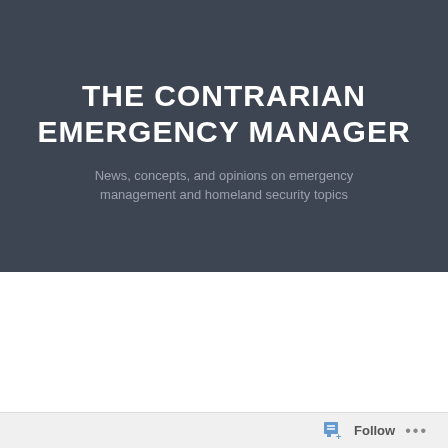THE CONTRARIAN EMERGENCY MANAGER
News, concepts, and opinions on emergency management and homeland security topics
MONTH
FEBRUARY 2013
Improving your writing
Follow ...